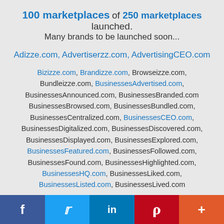100 marketplaces of 250 marketplaces launched. Many brands to be launched soon...
Adizze.com, Advertiserzz.com, AdvertisingCEO.com
Bizizze.com, Brandizze.com, Browseizze.com, Bundleizze.com, BusinessesAdvertised.com, BusinessesAnnounced.com, BusinessesBranded.com BusinessesBrowsed.com, BusinessesBundled.com, BusinessesCentralized.com, BusinessesCEO.com, BusinessesDigitalized.com, BusinessesDiscovered.com, BusinessesDisplayed.com, BusinessesExplored.com, BusinessesFeatured.com, BusinessesFollowed.com, BusinessesFound.com, BusinessesHighlighted.com, BusinessesHQ.com, BusinessesLiked.com, BusinessesListed.com, BusinessesLived.com
f  twitter  in  P  +